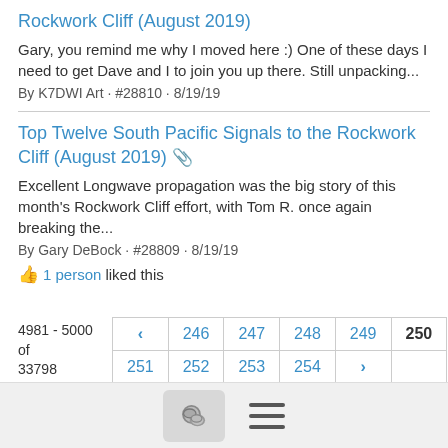Rockwork Cliff (August 2019)
Gary, you remind me why I moved here :) One of these days I need to get Dave and I to join you up there. Still unpacking...
By K7DWI Art · #28810 · 8/19/19
Top Twelve South Pacific Signals to the Rockwork Cliff (August 2019) 🖇
Excellent Longwave propagation was the big story of this month's Rockwork Cliff effort, with Tom R. once again breaking the...
By Gary DeBock · #28809 · 8/19/19
1 person liked this
4981 - 5000 of 33798
[Figure (other): Pagination control with page numbers 246, 247, 248, 249, 250 (current), 251, 252, 253, 254 and navigation arrows]
[Figure (other): Footer bar with chat icon button and hamburger menu icon]